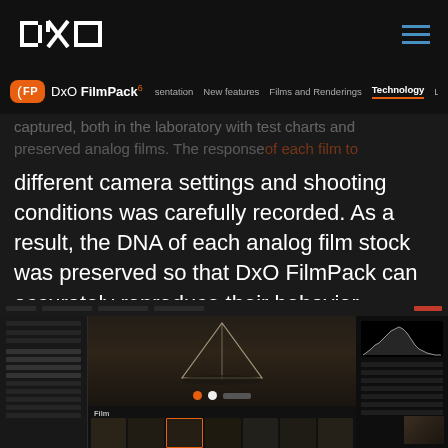DXO | DxO FilmPack 6 — Technology
captured, both in the laboratory with test charts and in...
preserved analog films. The response of each film to
different camera settings and shooting conditions was carefully recorded. As a result, the DNA of each analog film stock was preserved so that DxO FilmPack can accurately reproduce their behavior.
[Figure (screenshot): DxO FilmPack 6 software interface showing a dark-themed photo editing application with film thumbnails at the bottom, a central image preview area with a tent/pyramid shape, histogram panel on the right, and film selection panel on the left.]